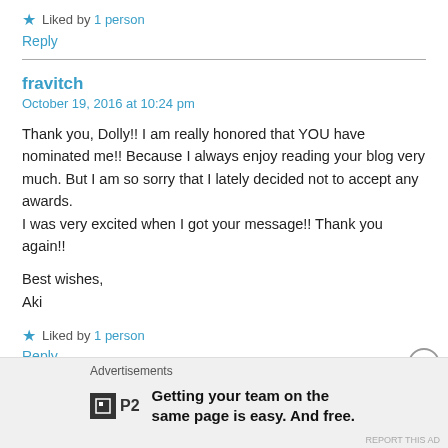★ Liked by 1 person
Reply
fravitch
October 19, 2016 at 10:24 pm
Thank you, Dolly!! I am really honored that YOU have nominated me!! Because I always enjoy reading your blog very much. But I am so sorry that I lately decided not to accept any awards.
I was very excited when I got your message!! Thank you again!!
Best wishes,
Aki
★ Liked by 1 person
Reply
Advertisements
Getting your team on the same page is easy. And free.